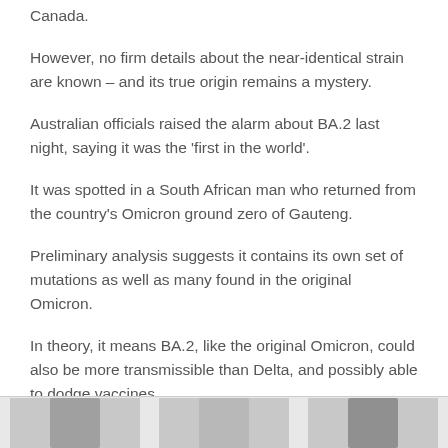Canada.
However, no firm details about the near-identical strain are known – and its true origin remains a mystery.
Australian officials raised the alarm about BA.2 last night, saying it was the ‘first in the world’.
It was spotted in a South African man who returned from the country's Omicron ground zero of Gauteng.
Preliminary analysis suggests it contains its own set of mutations as well as many found in the original Omicron.
In theory, it means BA.2, like the original Omicron, could also be more transmissible than Delta, and possibly able to dodge vaccines.
[Figure (photo): Strip of photos at the bottom of the page]